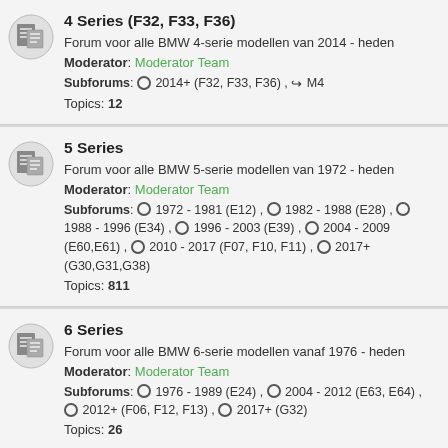4 Series (F32, F33, F36)
Forum voor alle BMW 4-serie modellen van 2014 - heden
Moderator: Moderator Team
Subforums: 2014+ (F32, F33, F36) , M4
Topics: 12
5 Series
Forum voor alle BMW 5-serie modellen van 1972 - heden
Moderator: Moderator Team
Subforums: 1972 - 1981 (E12) , 1982 - 1988 (E28) , 1988 - 1996 (E34) , 1996 - 2003 (E39) , 2004 - 2009 (E60,E61) , 2010 - 2017 (F07, F10, F11) , 2017+ (G30,G31,G38)
Topics: 811
6 Series
Forum voor alle BMW 6-serie modellen vanaf 1976 - heden
Moderator: Moderator Team
Subforums: 1976 - 1989 (E24) , 2004 - 2012 (E63, E64) , 2012+ (F06, F12, F13) , 2017+ (G32)
Topics: 26
7 Series
Forum voor alle BMW 7-serie modellen van 1977 - heden.
Moderator: Moderator Team
Subforums: 1988 - 1994 (E32) , 1995 - 2001 (E38) , ...